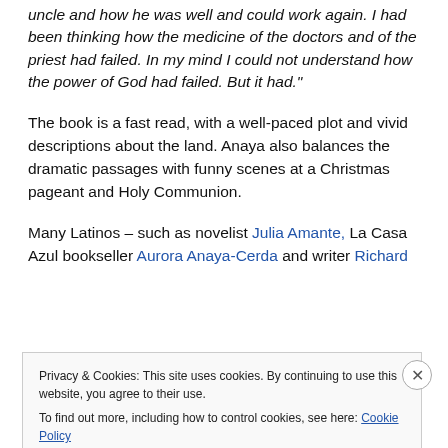uncle and how he was well and could work again. I had been thinking how the medicine of the doctors and of the priest had failed. In my mind I could not understand how the power of God had failed. But it had."
The book is a fast read, with a well-paced plot and vivid descriptions about the land. Anaya also balances the dramatic passages with funny scenes at a Christmas pageant and Holy Communion.
Many Latinos – such as novelist Julia Amante, La Casa Azul bookseller Aurora Anaya-Cerda and writer Richard
Privacy & Cookies: This site uses cookies. By continuing to use this website, you agree to their use.
To find out more, including how to control cookies, see here: Cookie Policy
Close and accept
WORDPRESS.COM